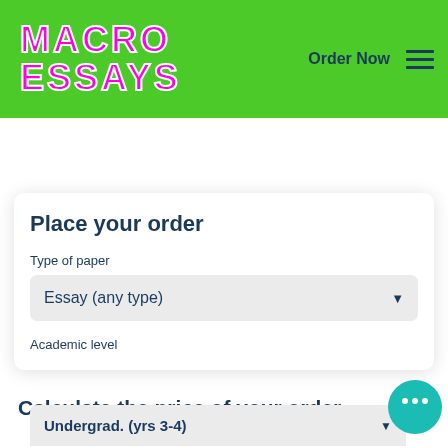[Figure (logo): Macro Essays logo with pink/magenta bold text on green background]
Order Now
Place your order
Type of paper
Essay (any type)
Academic level
Calculate the price of your order
Undergrad. (yrs 3-4)